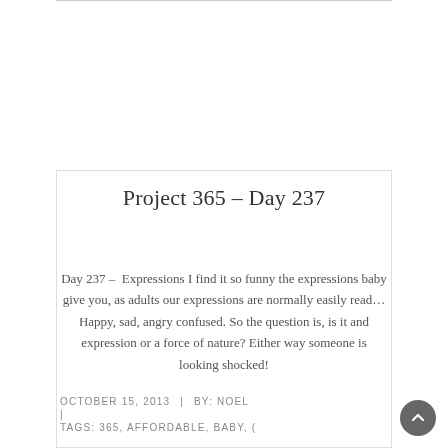Project 365 – Day 237
Day 237 –  Expressions I find it so funny the expressions baby give you, as adults our expressions are normally easily read… Happy, sad, angry confused. So the question is, is it and expression or a force of nature? Either way someone is looking shocked!
OCTOBER 15, 2013  |  BY: NOEL  |  TAGS: 365, AFFORDABLE, BABY, (…)